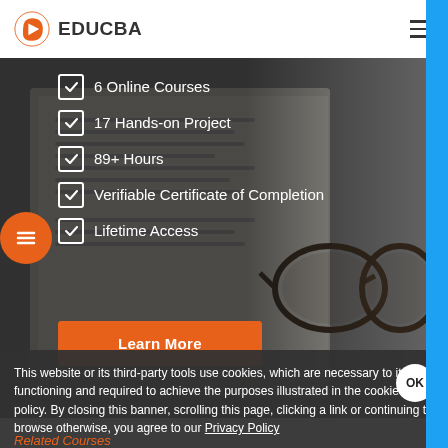EDUCBA
6 Online Courses
17 Hands-on Project
89+ Hours
Verifiable Certificate of Completion
Lifetime Access
Learn More
This website or its third-party tools use cookies, which are necessary to its functioning and required to achieve the purposes illustrated in the cookie policy. By closing this banner, scrolling this page, clicking a link or continuing to browse otherwise, you agree to our Privacy Policy
Related Courses